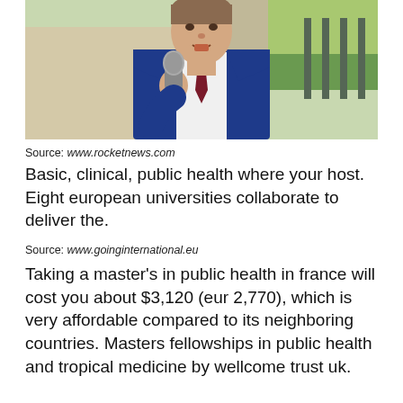[Figure (photo): A man in a blue suit and dark red tie holding a microphone, speaking outdoors]
Source: www.rocketnews.com
Basic, clinical, public health where your host. Eight european universities collaborate to deliver the.
Source: www.goinginternational.eu
Taking a master's in public health in france will cost you about $3,120 (eur 2,770), which is very affordable compared to its neighboring countries. Masters fellowships in public health and tropical medicine by wellcome trust uk.